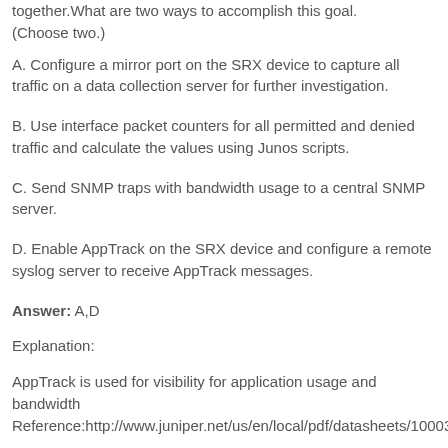together. What are two ways to accomplish this goal. (Choose two.)
A. Configure a mirror port on the SRX device to capture all traffic on a data collection server for further investigation.
B. Use interface packet counters for all permitted and denied traffic and calculate the values using Junos scripts.
C. Send SNMP traps with bandwidth usage to a central SNMP server.
D. Enable AppTrack on the SRX device and configure a remote syslog server to receive AppTrack messages.
Answer: A,D
Explanation:
AppTrack is used for visibility for application usage and bandwidth
Reference:http://www.juniper.net/us/en/local/pdf/datasheets/10003